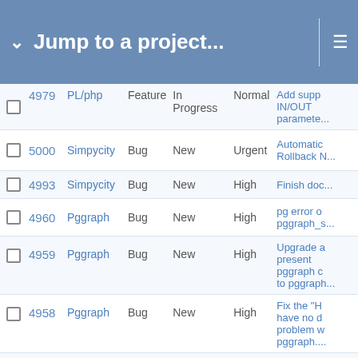Jump to a project...
|  | # | Project | Type | Status | Priority | Summary |
| --- | --- | --- | --- | --- | --- | --- |
|  | 4979 | PL/php | Feature | In Progress | Normal | Add supp IN/OUT paramete... |
|  | 5000 | Simpycity | Bug | New | Urgent | Automatic Rollback N... |
|  | 4993 | Simpycity | Bug | New | High | Finish doc... |
|  | 4960 | Pggraph | Bug | New | High | pg error o pggraph_s... |
|  | 4959 | Pggraph | Bug | New | High | Upgrade a present pggraph c to pggraph... |
|  | 4958 | Pggraph | Bug | New | High | Fix the "H have no d problem w pggraph.... |
|  | 4956 | Pggraph | Bug | New | High | dbrollup.p needs to support pggraph 2... |
|  | 4954 | Pggraph | Bug | New | High | pggraph_... |